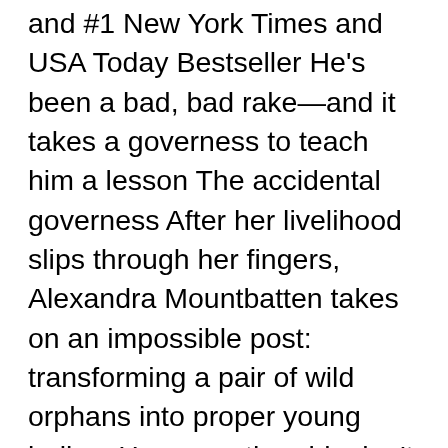and #1 New York Times and USA Today Bestseller He's been a bad, bad rake—and it takes a governess to teach him a lesson The accidental governess After her livelihood slips through her fingers, Alexandra Mountbatten takes on an impossible post: transforming a pair of wild orphans into proper young ladies. However, the girls don't need discipline. They need a loving home. Try telling that to their guardian, Chase Reynaud: duke's heir in the streets and devil in the sheets. The ladies of London have tried—and failed—to make him settle down. Somehow, Alexandra must reach his heart . . . without risking her own. The infamous rake Like any self-respecting libertine, Chase lives by one rule: no attachments. When a stubborn little governess tries to teach him a lesson...